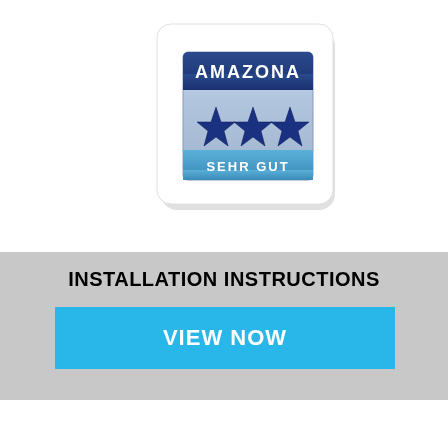[Figure (logo): Amazona award badge: white rounded rectangle card with shadow, containing a metallic blue label with 'AMAZONA' text at top, three blue stars in the middle, and 'SEHR GUT' text at the bottom on a blue banner]
INSTALLATION INSTRUCTIONS
VIEW NOW